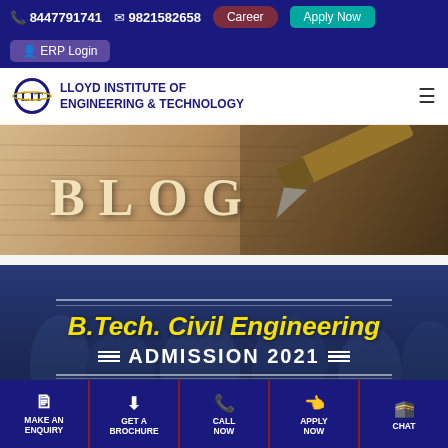8447791741   9821582658   Career   Apply Now   ERP Login
LLOYD INSTITUTE OF ENGINEERING & TECHNOLOGY
[Figure (photo): Blog banner with fountain pen on handwritten paper background with text BLOG]
[Figure (photo): Admission banner for B.Tech. Civil Engineering Admission 2021 on dark blue background]
MAKE AN ENQUIRY   GET A BROCHURE   CALL NOW   APPLY NOW   CHAT